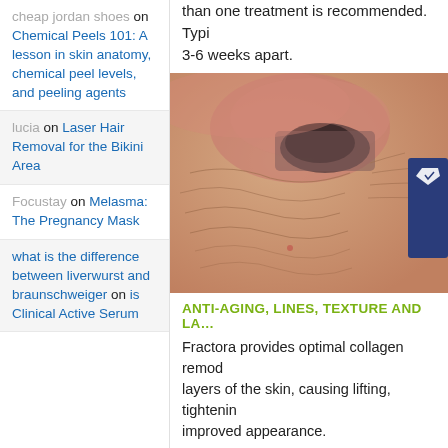cheap jordan shoes on Chemical Peels 101: A lesson in skin anatomy, chemical peel levels, and peeling agents
lucia on Laser Hair Removal for the Bikini Area
Focustay on Melasma: The Pregnancy Mask
what is the difference between liverwurst and braunschweiger on is Clinical Active Serum
than one treatment is recommended. Typi... 3-6 weeks apart.
[Figure (photo): Close-up photo of aged skin around the eye area showing wrinkles and texture, with a Follow Me badge overlay on the right side]
ANTI-AGING, LINES, TEXTURE AND LA...
Fractora provides optimal collagen remod... layers of the skin, causing lifting, tightenin... improved appearance.